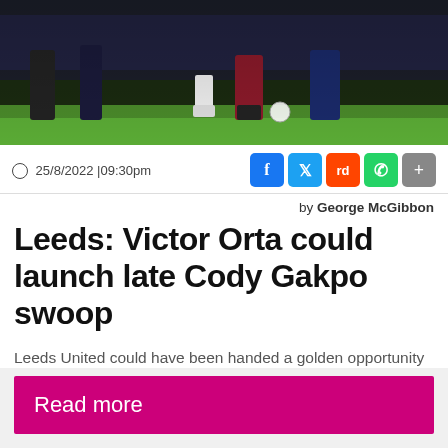[Figure (photo): Football/soccer scene showing players on a pitch with green grass, dark stadium background, players' legs and a ball visible]
25/8/2022 | 09:30pm
by George McGibbon
Leeds: Victor Orta could launch late Cody Gakpo swoop
Leeds United could have been handed a golden opportunity to bring Cody Gakpo to Elland Road this summer. What's…
Read more